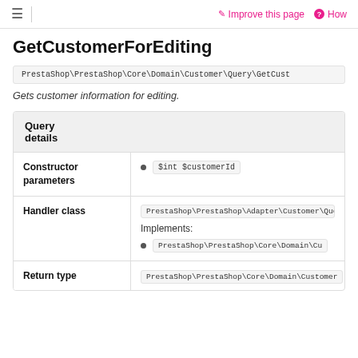≡ | ✏ Improve this page  ? How
GetCustomerForEditing
PrestaShop\PrestaShop\Core\Domain\Customer\Query\GetCust
Gets customer information for editing.
| Query details |
| --- |
| Constructor parameters | $int $customerId |
| Handler class | PrestaShop\PrestaShop\Adapter\Customer\Que
Implements:
• PrestaShop\PrestaShop\Core\Domain\Cu |
| Return type | PrestaShop\PrestaShop\Core\Domain\Customer |